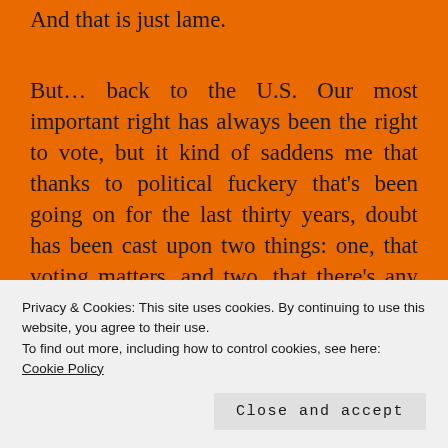And that is just lame.
But… back to the U.S. Our most important right has always been the right to vote, but it kind of saddens me that thanks to political fuckery that's been going on for the last thirty years, doubt has been cast upon two things: one, that voting matters, and two, that there's any difference between the two major political parties.
Funny thing is that the people who buy into that
Privacy & Cookies: This site uses cookies. By continuing to use this website, you agree to their use.
To find out more, including how to control cookies, see here: Cookie Policy
Close and accept